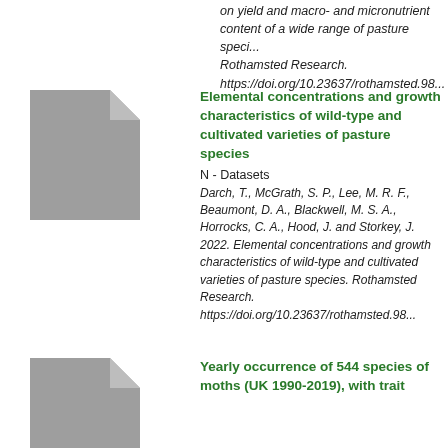on yield and macro- and micronutrient content of a wide range of pasture species. Rothamsted Research. https://doi.org/10.23637/rothamsted.98...
[Figure (illustration): Generic document/file icon (grey rectangle with folded top-right corner)]
Elemental concentrations and growth characteristics of wild-type and cultivated varieties of pasture species
N - Datasets
Darch, T., McGrath, S. P., Lee, M. R. F., Beaumont, D. A., Blackwell, M. S. A., Horrocks, C. A., Hood, J. and Storkey, J. 2022. Elemental concentrations and growth characteristics of wild-type and cultivated varieties of pasture species. Rothamsted Research. https://doi.org/10.23637/rothamsted.98...
[Figure (illustration): Generic document/file icon (grey rectangle with folded top-right corner)]
Yearly occurrence of 544 species of moths (UK 1990-2019), with trait data and long-term trends